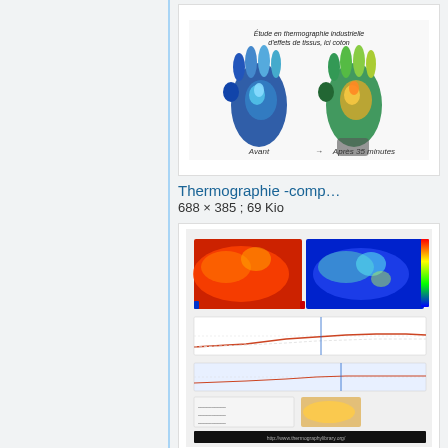[Figure (photo): Thermographic image of two hands (before and after, thermal infrared study of cotton fabric effects), showing heat signatures in false color (blue, green, yellow, orange, red)]
Thermographie -comp…
688 × 385 ; 69 Kio
[Figure (photo): Thermographic comparison image showing two thermal views of feet/hands from top with color temperature scale and graphs below, from thermographylibrary.org]
Thermographie-compa…
1 107 × 852 ; 283 Kio
[Figure (photo): Thermographic image of a camel showing body heat distribution in false color with a color scale bar on the right]